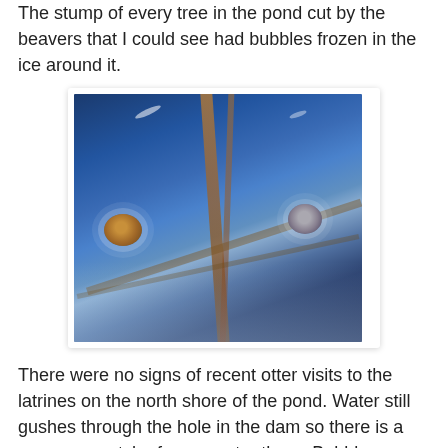The stump of every tree in the pond cut by the beavers that I could see had bubbles frozen in the ice around it.
[Figure (photo): Aerial or close-up view of a frozen pond showing ice with dark streaks (submerged logs or tree stumps), two visible tree stumps encircled by white bubbles frozen in the ice, and dark amber-brown diagonal streaks across the blue-grey ice surface.]
There were no signs of recent otter visits to the latrines on the north shore of the pond. Water still gushes through the hole in the dam so there is a generous patch of open water there. Bubbles remained frozen in or trapped under the ice that I could see behind the dam, but just as likely from rotting vegetation as animals.